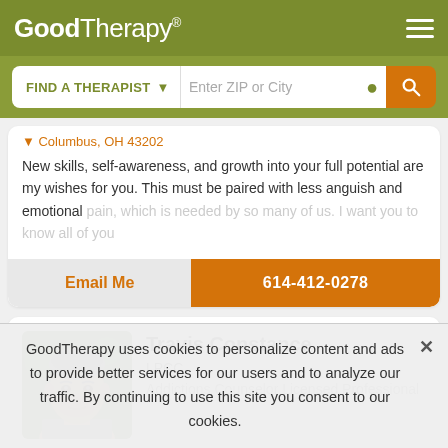GoodTherapy®
FIND A THERAPIST   Enter ZIP or City
Columbus, OH 43202
New skills, self-awareness, and growth into your full potential are my wishes for you. This must be paired with less anguish and emotional pain, which is needed by so many of us. I want you to know all of you
Email Me
614-412-0278
Travis Constance
LPCC,
Addictions Counselor Licensed Professional
GoodTherapy uses cookies to personalize content and ads to provide better services for our users and to analyze our traffic. By continuing to use this site you consent to our cookies.